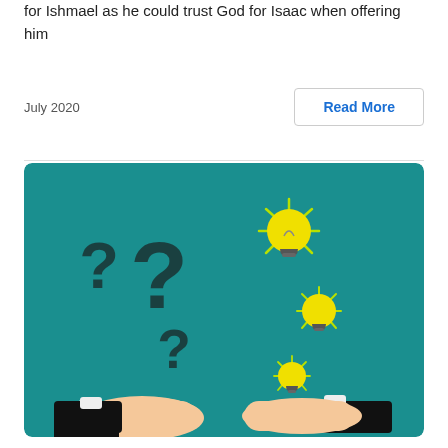for Ishmael as he could trust God for Isaac when offering him
July 2020
Read More
[Figure (illustration): Illustration on a teal background showing question marks and light bulbs being exchanged between two pairs of hands wearing black sleeves, suggesting problem-solving or idea exchange.]